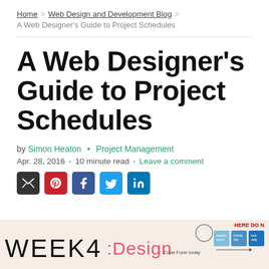Home > Web Design and Development Blog > A Web Designer's Guide to Project Schedules
A Web Designer's Guide to Project Schedules
by Simon Heaton · Project Management
Apr. 28, 2016 · 10 minute read · Leave a comment
[Figure (photo): Whiteboard photo showing 'WEEK 4: Design' handwritten text with sticky notes and an arrow pointing with text 'Code Funn  today']